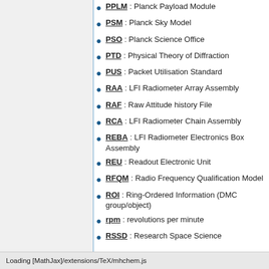PPLM : Planck Payload Module
PSM : Planck Sky Model
PSO : Planck Science Office
PTD : Physical Theory of Diffraction
PUS : Packet Utilisation Standard
RAA : LFI Radiometer Array Assembly
RAF : Raw Attitude history File
RCA : LFI Radiometer Chain Assembly
REBA : LFI Radiometer Electronics Box Assembly
REU : Readout Electronic Unit
RFQM : Radio Frequency Qualification Model
ROI : Ring-Ordered Information (DMC group/object)
rpm : revolutions per minute
RSSD : Research Space Science Division at ESA [ESTEC
Loading [MathJax]/extensions/TeX/mhchem.js